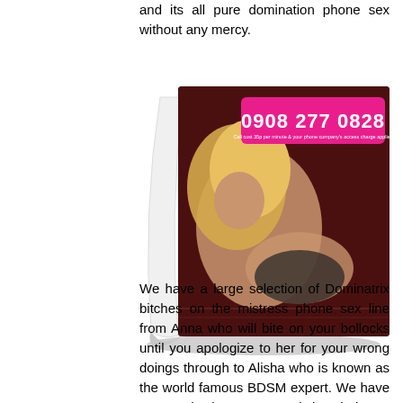and its all pure domination phone sex without any mercy.
[Figure (photo): A promotional image styled as a peeling page/curled paper effect showing a woman in black leather lingerie on all fours. A pink banner with white text displays the phone number '0908 277 0828' with small print below it.]
We have a large selection of Dominatrix bitches on the mistress phone sex line from Anna who will bite on your bollocks until you apologize to her for your wrong doings through to Alisha who is known as the world famous BDSM expert. We have Jenny who loves to stretch butt holes to the maximum